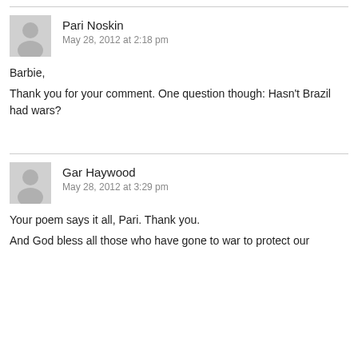Pari Noskin
May 28, 2012 at 2:18 pm
Barbie,
Thank you for your comment. One question though: Hasn't Brazil had wars?
Gar Haywood
May 28, 2012 at 3:29 pm
Your poem says it all, Pari. Thank you.

And God bless all those who have gone to war to protect our